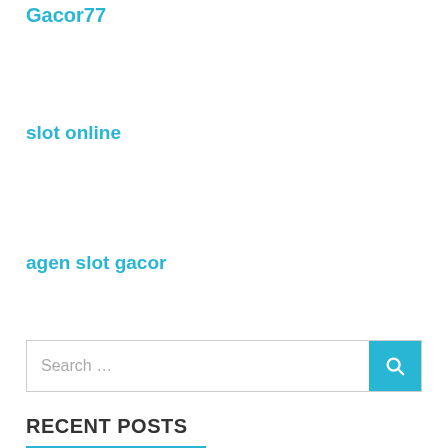Gacor77
slot online
agen slot gacor
[Figure (screenshot): Search bar with text 'Search ...' and a cyan/blue search button with magnifying glass icon]
RECENT POSTS